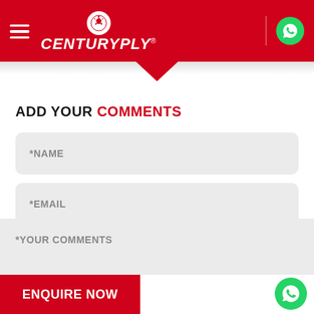[Figure (logo): CenturyPly logo with hamburger menu and WhatsApp icon in red header bar]
ADD YOUR COMMENTS
*NAME
*EMAIL
*YOUR COMMENTS
ENQUIRE NOW